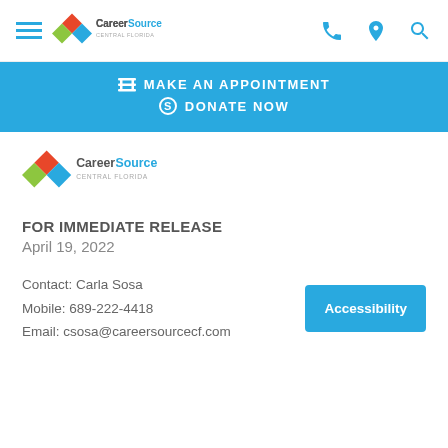CareerSource Central Florida navigation bar with hamburger menu, logo, phone, location, and search icons
MAKE AN APPOINTMENT
DONATE NOW
[Figure (logo): CareerSource Central Florida logo with colorful diamond shapes]
FOR IMMEDIATE RELEASE
April 19, 2022
Contact: Carla Sosa
Mobile: 689-222-4418
Email: csosa@careersourcecf.com
Accessibility